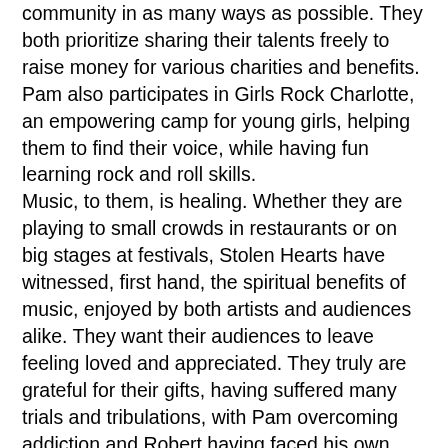community in as many ways as possible. They both prioritize sharing their talents freely to raise money for various charities and benefits. Pam also participates in Girls Rock Charlotte, an empowering camp for young girls, helping them to find their voice, while having fun learning rock and roll skills. Music, to them, is healing. Whether they are playing to small crowds in restaurants or on big stages at festivals, Stolen Hearts have witnessed, first hand, the spiritual benefits of music, enjoyed by both artists and audiences alike. They want their audiences to leave feeling loved and appreciated. They truly are grateful for their gifts, having suffered many trials and tribulations, with Pam overcoming addiction and Robert having faced his own challenges; now being able to share their music together is ever sweeter. It's no coincidence that, being a blues woman, Pam would fall for a man named Robert Johnson! Pam was lucky enough to receive a year of mentorship on her guitar skills from fellow blues woman